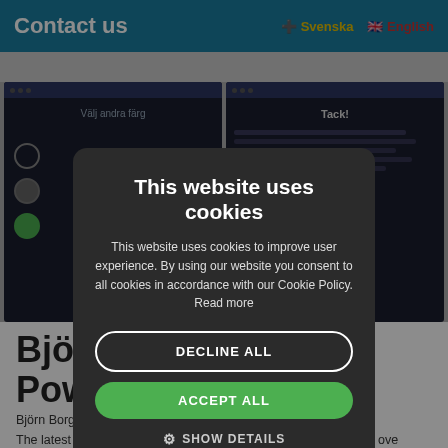Contact us   🇸🇪 Svenska   🇬🇧 English
[Figure (screenshot): Two dark-themed website screenshots side by side. Left screenshot shows 'Välj andra färg' with circular color selector buttons (gray, dark gray, green). Right screenshot shows 'Tack!' with text content and controls.]
Björn
Powe
Björn Borg s
The latest ca ver is hosted by Rackfish C ove Commandos, an Indian organization providing shelter for lovers that want to marry for love instead of for family and traditions.
A campaign by Garbergs and Kokokaka with Bsmart
This website uses cookies
This website uses cookies to improve user experience. By using our website you consent to all cookies in accordance with our Cookie Policy. Read more
DECLINE ALL
ACCEPT ALL
⚙ SHOW DETAILS